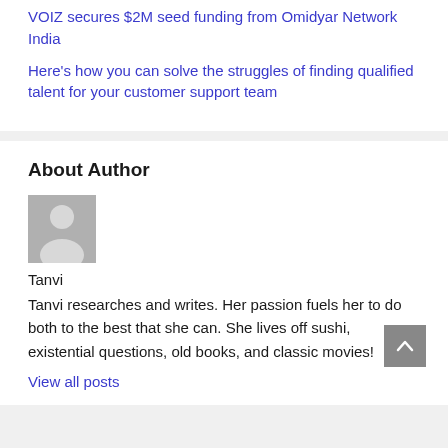VOIZ secures $2M seed funding from Omidyar Network India
Here's how you can solve the struggles of finding qualified talent for your customer support team
About Author
[Figure (illustration): Generic grey avatar placeholder image of a person silhouette]
Tanvi
Tanvi researches and writes. Her passion fuels her to do both to the best that she can. She lives off sushi, existential questions, old books, and classic movies!
View all posts